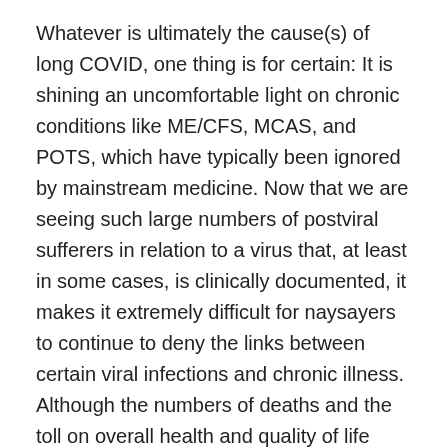Whatever is ultimately the cause(s) of long COVID, one thing is for certain: It is shining an uncomfortable light on chronic conditions like ME/CFS, MCAS, and POTS, which have typically been ignored by mainstream medicine. Now that we are seeing such large numbers of postviral sufferers in relation to a virus that, at least in some cases, is clinically documented, it makes it extremely difficult for naysayers to continue to deny the links between certain viral infections and chronic illness. Although the numbers of deaths and the toll on overall health and quality of life have been heartbreaking, one silver lining to all of this is the medical community and science can no longer wash away patients' complaints with a broad psychogenic brush and simply label them as “head cases.”
We must now recognize that these, fundamentally, are